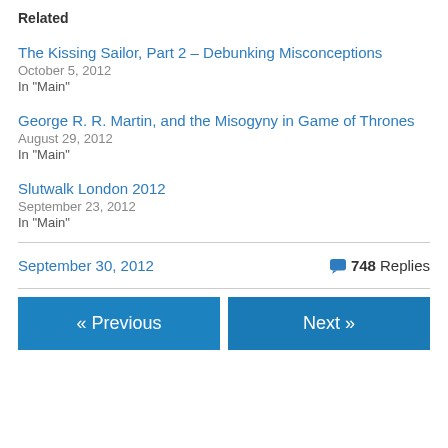Related
The Kissing Sailor, Part 2 – Debunking Misconceptions
October 5, 2012
In "Main"
George R. R. Martin, and the Misogyny in Game of Thrones
August 29, 2012
In "Main"
Slutwalk London 2012
September 23, 2012
In "Main"
September 30, 2012   748 Replies
« Previous   Next »